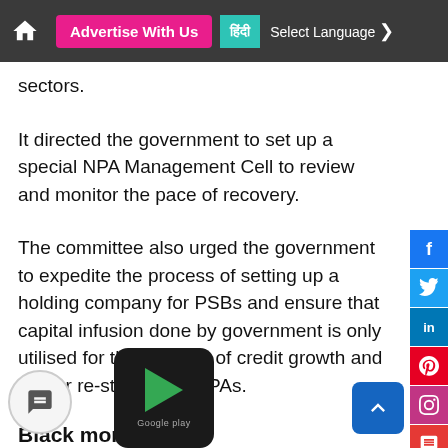Advertise With Us | हिंदी | Select Language
sectors.
It directed the government to set up a special NPA Management Cell to review and monitor the pace of recovery.
The committee also urged the government to expedite the process of setting up a holding company for PSBs and ensure that capital infusion done by government is only utilised for the purpose of credit growth and not for re-structuring NPAs.
Black money probe
The standing committee asked the finance ministry to expeditiously complete the inquiry into the names revealed by HSBC on unaccounted money stashed abroad. It asked